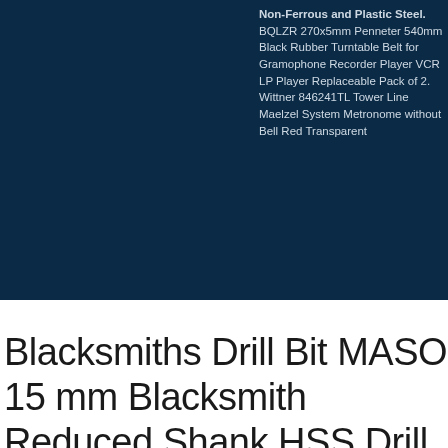[Figure (other): Dark navy blue background panel occupying the upper portion of the page, with product listing text visible on the right side]
Non-Ferrous and Plastic Steel. BQLZR 270x5mm Penneter 540mm Black Rubber Turntable Belt for Gramophone Recorder Player VCR LP Player Replaceable Pack of 2. Wittner 846241TL Tower Line Maelzel System Metronome without Bell Red Transparent
Blacksmiths Drill Bit MASO 15 mm Blacksmith Reduced Shank HSS Drill Bit for Aluminium Wood